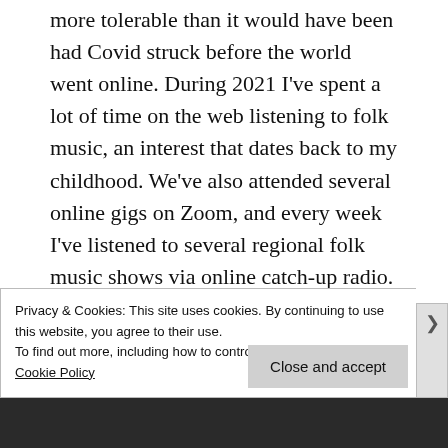more tolerable than it would have been had Covid struck before the world went online. During 2021 I've spent a lot of time on the web listening to folk music, an interest that dates back to my childhood. We've also attended several online gigs on Zoom, and every week I've listened to several regional folk music shows via online catch-up radio. We even plucked up the courage to attend one day of the Derby Folk Festival in person, and enjoyed seeing Ninebarrow – a folk duo we discovered
Privacy & Cookies: This site uses cookies. By continuing to use this website, you agree to their use.
To find out more, including how to control cookies, see here: Cookie Policy
Close and accept